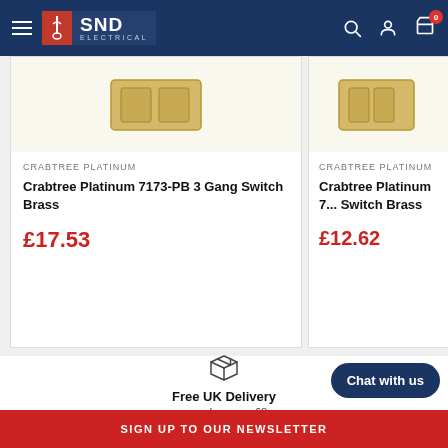SND Electrical — Navigation bar with menu, logo, search, account, cart (0)
[Figure (screenshot): Product card left: Crabtree Platinum 7173-PB 3 Gang Switch Brass, image of brass switch plate, price £17.53]
CRABTREE PLATINUM
Crabtree Platinum 7173-PB 3 Gang Switch Brass
£17.53
[Figure (screenshot): Product card right: Crabtree Platinum 7... Switch Brass, image of brass switch plate, price £12.62]
CRABTREE PLATINUM
Crabtree Platinum 7... Switch Brass
£12.62
[Figure (illustration): Box/package delivery icon outline]
Free UK Delivery
on orders over £8
Chat with us
SIGN UP TO OUR NEWSLETTER